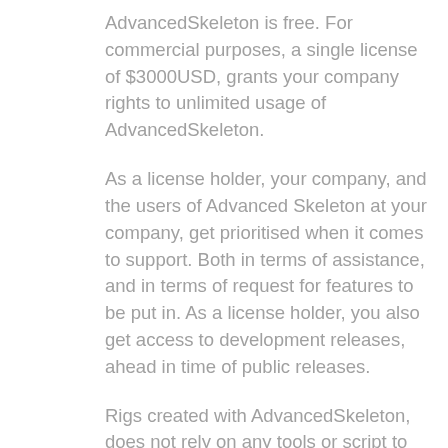AdvancedSkeleton is free. For commercial purposes, a single license of $3000USD, grants your company rights to unlimited usage of AdvancedSkeleton.
As a license holder, your company, and the users of Advanced Skeleton at your company, get prioritised when it comes to support. Both in terms of assistance, and in terms of request for features to be put in. As a license holder, you also get access to development releases, ahead in time of public releases.
Rigs created with AdvancedSkeleton, does not rely on any tools or script to used for animation. So outsourcing rigs to animators, do not require animators to have any tools or scripts installed. But if you wish to provide outsource animators with tools generated with Advanced Skeleton (e.g. selectors, pose-